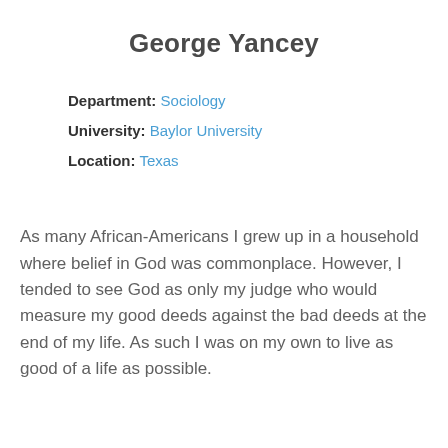George Yancey
Department: Sociology
University: Baylor University
Location: Texas
As many African-Americans I grew up in a household where belief in God was commonplace. However, I tended to see God as only my judge who would measure my good deeds against the bad deeds at the end of my life. As such I was on my own to live as good of a life as possible.